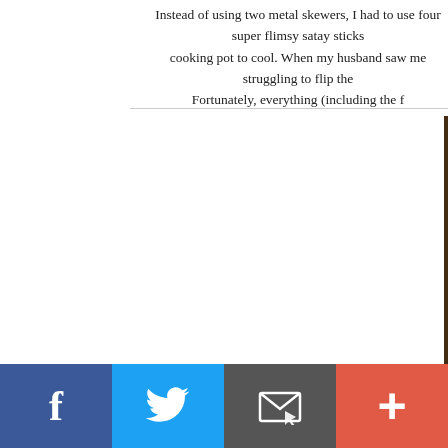Instead of using two metal skewers, I had to use four super flimsy satay sticks cooking pot to cool. When my husband saw me struggling to flip the Fortunately, everything (including the f
[Figure (photo): Close-up photograph of a rustic baked bread loaf with a golden-brown crust, showing texture and crumb. Green and red confetti or decorative elements visible in the background on a wooden surface.]
f  [Twitter bird icon]  [Email icon]  +